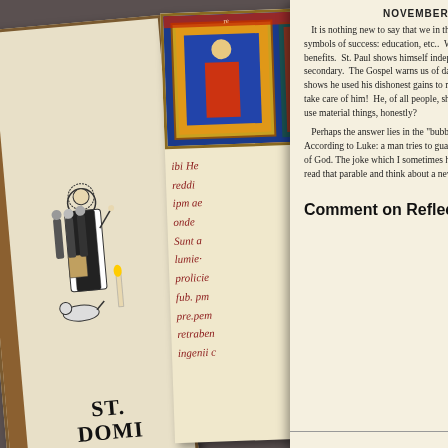[Figure (illustration): Book cover with St. Dominic illustration showing a robed figure with a dog, titled ST. DOM[INIC]]
[Figure (illustration): Medieval manuscript page with illuminated image and Latin text in red calligraphic script]
NOVEMBER 10  ST. LEO TH[E GREAT]
It is nothing new to say that we in the US live in a "throw-away" culture.  The symbols of success: education, etc..  With these comes the power of material benefits.  St. Paul shows himself independent of his "circumstances" as secondary.  The Gospel warns us of dangers of material possessions.  The passage shows he used his dishonest gains to make friends with his master who would take care of him!  He, of all people, showed trust in God. Why can't Christians use material things, honestly?
Perhaps the answer lies in the "bubble effect." Another parable in the Gospel According to Luke: a man tries to guarantee his future with bigger barns instead of God. The joke which I sometimes hear from folks is, "I don't own anything." I read that parable and think about a new way of living.
Comment on Reflection
<< Previous
© Copyright 2004 -